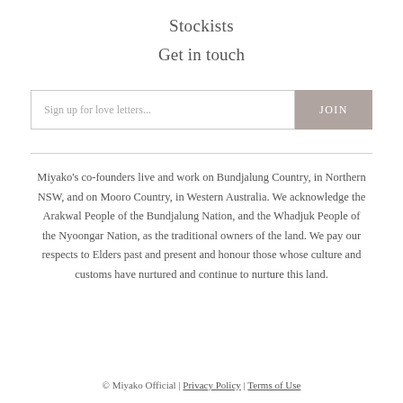Stockists
Get in touch
Sign up for love letters... JOIN
Miyako’s co-founders live and work on Bundjalung Country, in Northern NSW, and on Mooro Country, in Western Australia. We acknowledge the Arakwal People of the Bundjalung Nation, and the Whadjuk People of the Nyoongar Nation, as the traditional owners of the land. We pay our respects to Elders past and present and honour those whose culture and customs have nurtured and continue to nurture this land.
© Miyako Official | Privacy Policy | Terms of Use